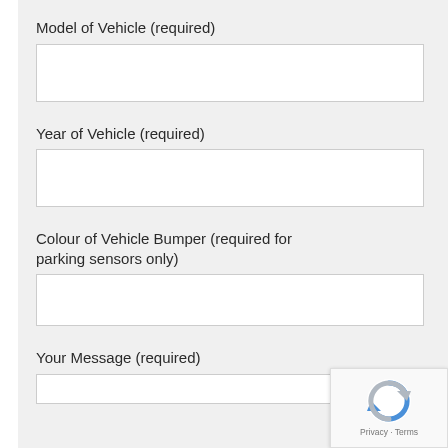Model of Vehicle (required)
Year of Vehicle (required)
Colour of Vehicle Bumper (required for parking sensors only)
Your Message (required)
[Figure (logo): reCAPTCHA badge with blue/grey circular arrow logo and Privacy · Terms text]